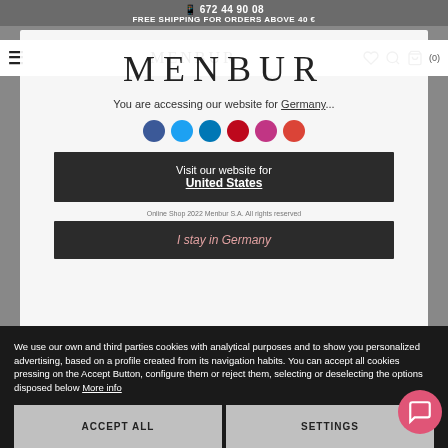672 44 90 08 | FREE SHIPPING FOR ORDERS ABOVE 40 €
[Figure (logo): MENBUR logo in navigation bar]
[Figure (logo): MENBUR large logo in country selection modal]
You are accessing our website for Germany...
[Figure (infographic): Social media icons: Facebook, Twitter, LinkedIn, Pinterest, Instagram, Google+]
Visit our website for United States
Online Shop 2022 Menbur S.A. All rights reserved
I stay in Germany
We use our own and third parties cookies with analytical purposes and to show you personalized advertising, based on a profile created from its navigation habits. You can accept all cookies pressing on the Accept Button, configure them or reject them, selecting or deselecting the options disposed below More info
ACCEPT ALL
SETTINGS